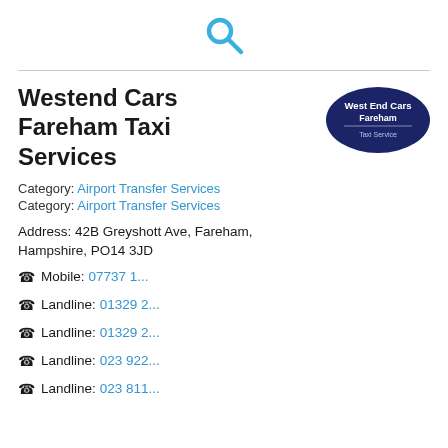[Figure (logo): Search magnifier icon in blue at the top center of the page]
Westend Cars Fareham Taxi Services
[Figure (logo): West End Cars Fareham Taxi Service oval logo with dark blue/navy background and white text]
Category: Airport Transfer Services
Category: Airport Transfer Services
Address: 42B Greyshott Ave, Fareham, Hampshire, PO14 3JD
Mobile: 07737 1...
Landline: 01329 2...
Landline: 01329 2...
Landline: 023 922...
Landline: 023 811...